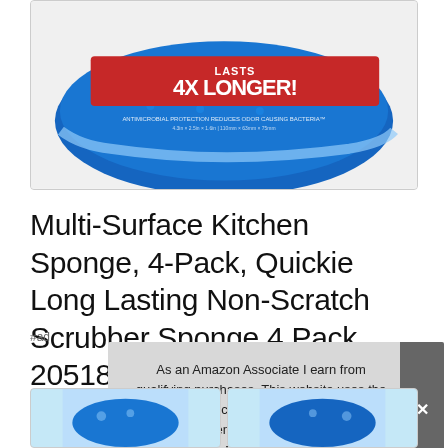[Figure (photo): Blue Quickie kitchen sponge multi-pack with red banner text 'LASTS 4X LONGER!' and white text 'ANTIMICROBIAL PROTECTION REDUCES ODOR CAUSING BACTERIA']
Multi-Surface Kitchen Sponge, 4-Pack, Quickie Long Lasting Non-Scratch Scrubber Sponge 4 Pack 2051878
#ad
As an Amazon Associate I earn from qualifying purchases. This website uses the only necessary cookies to ensure you get the best experience on our website. More information